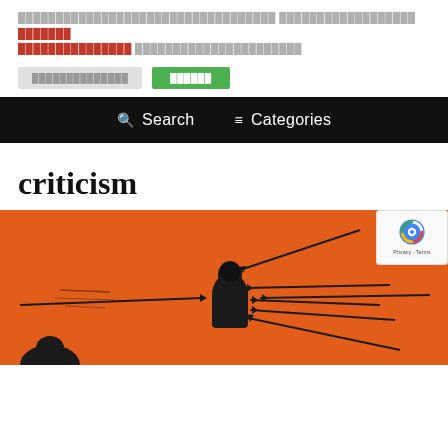[redacted text block with highlighted red links]
[button: redacted text] [button: redacted]
Search | Categories
criticism
[Figure (illustration): Orange background illustration showing a dark silhouette of a figure being struck by multiple black arrows from various directions, stylized graphic art style.]